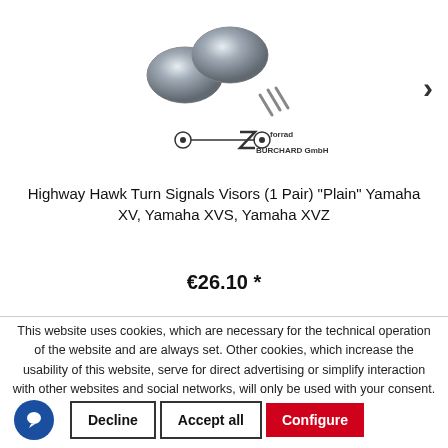[Figure (photo): Product image showing chrome turn signal visors (1 pair) and screws, with Motorrad Burchard GmbH logo. A right-arrow navigation button is on the right side.]
Highway Hawk Turn Signals Visors (1 Pair) "Plain" Yamaha XV, Yamaha XVS, Yamaha XVZ
€26.10 *
This website uses cookies, which are necessary for the technical operation of the website and are always set. Other cookies, which increase the usability of this website, serve for direct advertising or simplify interaction with other websites and social networks, will only be used with your consent.
Decline | Accept all | Configure